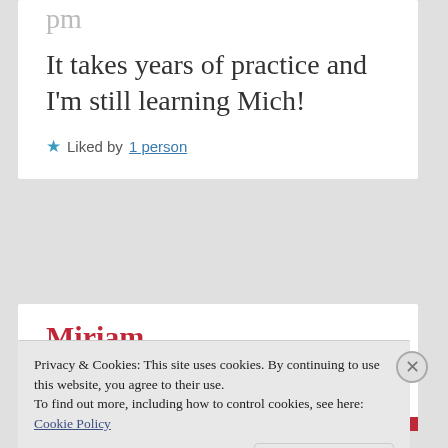pm
It takes years of practice and I’m still learning Mich!
★ Liked by 1 person
Miriam
March 19, 2020 at 10:57
Privacy & Cookies: This site uses cookies. By continuing to use this website, you agree to their use.
To find out more, including how to control cookies, see here: Cookie Policy
Close and accept